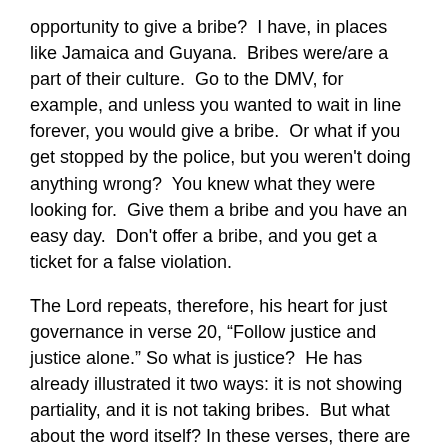opportunity to give a bribe?  I have, in places like Jamaica and Guyana.  Bribes were/are a part of their culture.  Go to the DMV, for example, and unless you wanted to wait in line forever, you would give a bribe.  Or what if you get stopped by the police, but you weren't doing anything wrong?  You knew what they were looking for.  Give them a bribe and you have an easy day.  Don't offer a bribe, and you get a ticket for a false violation.
The Lord repeats, therefore, his heart for just governance in verse 20, “Follow justice and justice alone.” So what is justice?  He has already illustrated it two ways: it is not showing partiality, and it is not taking bribes.  But what about the word itself? In these verses, there are actually two words for “justice.”  Let’s look at both.
In verse 19, he uses a word which refers to a just decision